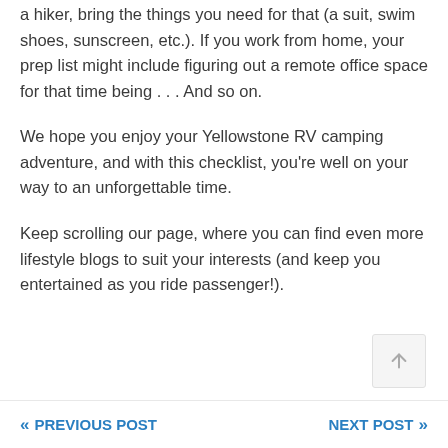a hiker, bring the things you need for that (a suit, swim shoes, sunscreen, etc.). If you work from home, your prep list might include figuring out a remote office space for that time being . . . And so on.
We hope you enjoy your Yellowstone RV camping adventure, and with this checklist, you're well on your way to an unforgettable time.
Keep scrolling our page, where you can find even more lifestyle blogs to suit your interests (and keep you entertained as you ride passenger!).
« PREVIOUS POST    NEXT POST »